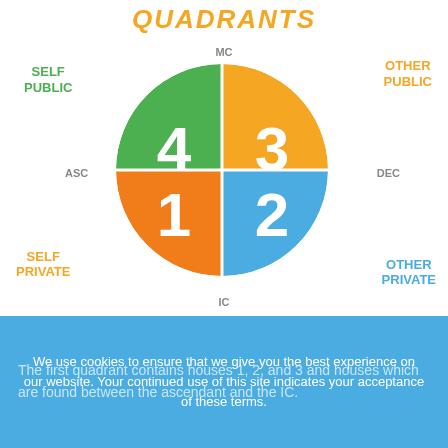QUADRANTS
[Figure (infographic): Circle divided into 4 quadrants numbered 1-4, colored orange (1, bottom-left), teal (2, bottom-right), gold (3, top-right), green (4, top-left). Axis labels: MC (top), IC (bottom), ASC (left), DEC (right). Quadrant labels: SELF PUBLIC (top-left, green), OTHER PUBLIC (top-right, gold), SELF PRIVATE (bottom-left, orange), OTHER PRIVATE (bottom-right, teal).]
We use cookies to ensure that we give you the best experience on our website. Your continued use of this site indicates your acceptance of these terms.
The first quadrant contains houses 1, 2, and 3 and houses which are found between the ascendant and the IC.